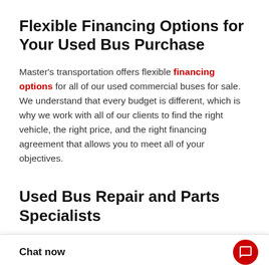Flexible Financing Options for Your Used Bus Purchase
Master's transportation offers flexible financing options for all of our used commercial buses for sale. We understand that every budget is different, which is why we work with all of our clients to find the right vehicle, the right price, and the right financing agreement that allows you to meet all of your objectives.
Used Bus Repair and Parts Specialists
We offer used bus repair and maintenance services through our coast-to-coast network, giving you access to thousands of...